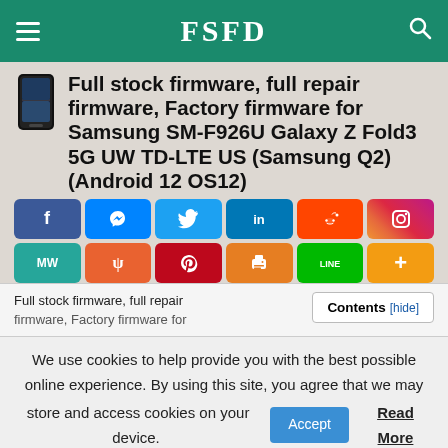FSFD
Full stock firmware, full repair firmware, Factory firmware for Samsung SM-F926U Galaxy Z Fold3 5G UW TD-LTE US (Samsung Q2) (Android 12 OS12)
[Figure (infographic): Social sharing buttons grid: Facebook, Messenger, Twitter, LinkedIn, Reddit, Instagram (row 1); MW, Yummly, Pinterest, Print, LINE, More (row 2)]
Full stock firmware, full repair firmware, Factory firmware for
Contents [hide]
We use cookies to help provide you with the best possible online experience. By using this site, you agree that we may store and access cookies on your device.